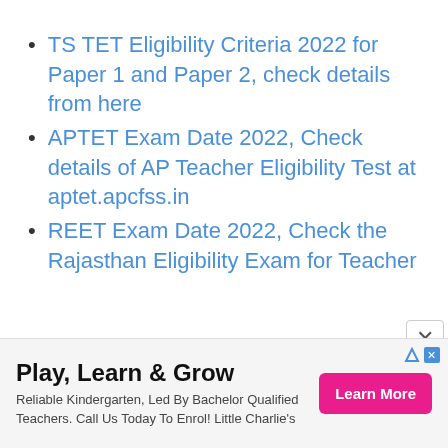TS TET Eligibility Criteria 2022 for Paper 1 and Paper 2, check details from here
APTET Exam Date 2022, Check details of AP Teacher Eligibility Test at aptet.apcfss.in
REET Exam Date 2022, Check the Rajasthan Eligibility Exam for Teacher
[Figure (infographic): Advertisement banner: Play, Learn & Grow - Reliable Kindergarten, Led By Bachelor Qualified Teachers. Call Us Today To Enrol! Little Charlie's. Learn More button.]